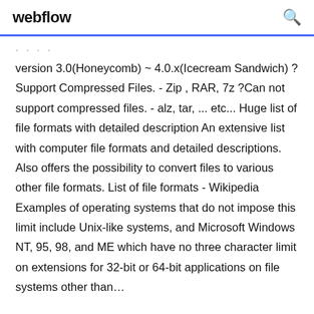webflow
version 3.0(Honeycomb) ~ 4.0.x(Icecream Sandwich) ?Support Compressed Files. - Zip , RAR, 7z ?Can not support compressed files. - alz, tar, ... etc... Huge list of file formats with detailed description An extensive list with computer file formats and detailed descriptions. Also offers the possibility to convert files to various other file formats. List of file formats - Wikipedia Examples of operating systems that do not impose this limit include Unix-like systems, and Microsoft Windows NT, 95, 98, and ME which have no three character limit on extensions for 32-bit or 64-bit applications on file systems other than...